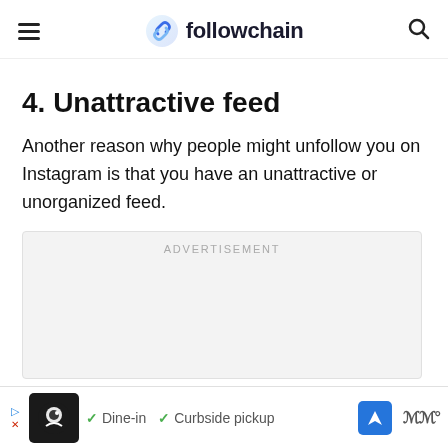followchain
4. Unattractive feed
Another reason why people might unfollow you on Instagram is that you have an unattractive or unorganized feed.
[Figure (other): Advertisement placeholder box with ADVERTISEMENT label]
[Figure (other): Bottom advertisement bar showing Dine-in and Curbside pickup options with restaurant logo]